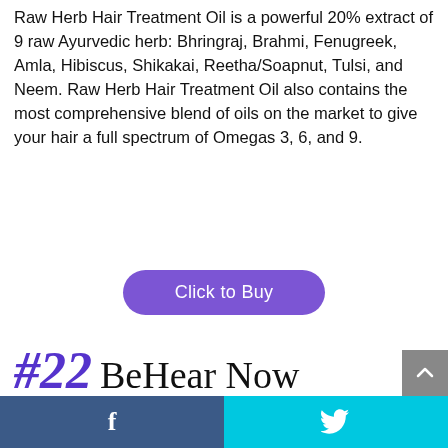Raw Herb Hair Treatment Oil is a powerful 20% extract of 9 raw Ayurvedic herb: Bhringraj, Brahmi, Fenugreek, Amla, Hibiscus, Shikakai, Reetha/Soapnut, Tulsi, and Neem. Raw Herb Hair Treatment Oil also contains the most comprehensive blend of oils on the market to give your hair a full spectrum of Omegas 3, 6, and 9.
[Figure (other): Purple rounded button with text 'Click to Buy']
#22 BeHear Now
f  [Twitter bird icon]